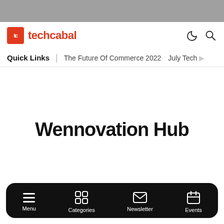[Figure (screenshot): TechCabal website screenshot showing logo, navigation bar with Quick Links, The Future Of Commerce 2022, July Tech items, and a bottom navigation bar with Menu, Categories, Newsletter, Events]
techcabal
Quick Links | The Future Of Commerce 2022  July Tech
Wennovation Hub
Menu  Categories  Newsletter  Events